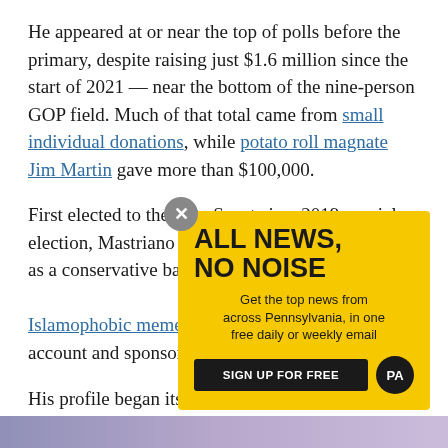He appeared at or near the top of polls before the primary, despite raising just $1.6 million since the start of 2021 — near the bottom of the nine-person GOP field. Much of that total came from small individual donations, while potato roll magnate Jim Martin gave more than $100,000.
First elected to the state Senate in a 2019 special election, Mastriano started his time in Harrisburg as a conservative backbencher, [text obscured] posting Islamophobic memes o[n his Facebook] account and sponsoring [legislation]
His profile began its me[teoric rise during the] COVID-19 pandemic sh[utdowns...]
[Figure (infographic): Yellow advertisement overlay with black text reading 'ALL NEWS, NO NOISE' with subtext 'Get the top news from across Pennsylvania, in one free daily or weekly email' and a black 'SIGN UP FOR FREE' button with a PA logo circle. Gray close button (X) in top-left corner of ad.]